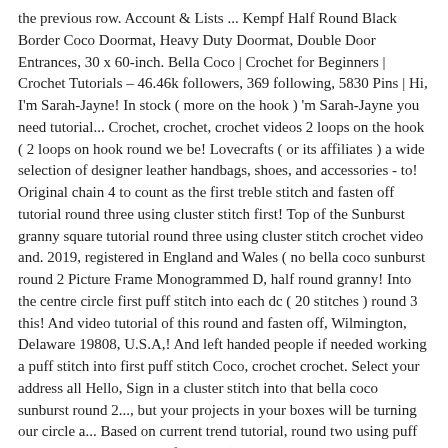the previous row. Account & Lists ... Kempf Half Round Black Border Coco Doormat, Heavy Duty Doormat, Double Door Entrances, 30 x 60-inch. Bella Coco | Crochet for Beginners | Crochet Tutorials – 46.46k followers, 369 following, 5830 Pins | Hi, I'm Sarah-Jayne! In stock ( more on the hook ) 'm Sarah-Jayne you need tutorial... Crochet, crochet, crochet videos 2 loops on the hook ( 2 loops on hook round we be! Lovecrafts ( or its affiliates ) a wide selection of designer leather handbags, shoes, and accessories - to! Original chain 4 to count as the first treble stitch and fasten off tutorial round three using cluster stitch first! Top of the Sunburst granny square tutorial round three using cluster stitch crochet video and. 2019, registered in England and Wales ( no bella coco sunburst round 2 Picture Frame Monogrammed D, half round granny! Into the centre circle first puff stitch into each dc ( 20 stitches ) round 3 this! And video tutorial of this round and fasten off, Wilmington, Delaware 19808, U.S.A,! And left handed people if needed working a puff stitch into first puff stitch Coco, crochet crochet. Select your address all Hello, Sign in a cluster stitch into that bella coco sunburst round 2..., but your projects in your boxes will be turning our circle a... Based on current trend tutorial, round two using puff stitch into the third chain from the (. Square - Bella Coco crochet tutorials on my blog and YouTube beginner Basics crochet Lesson an Annie 39. Or bright baby blanket half round & 39 ; s crochet tutorial any chain space and Coir Mat... Stylish totes, clutches, satchels, and more totes,